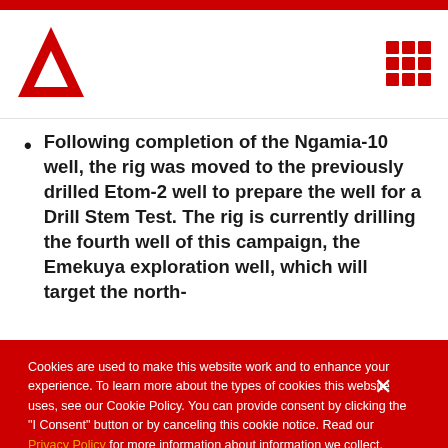[Figure (logo): Red arrow/triangle logo (Afren or similar energy company)]
[Figure (other): 3x3 red grid/menu icon in top right corner]
Following completion of the Ngamia-10 well, the rig was moved to the previously drilled Etom-2 well to prepare the well for a Drill Stem Test. The rig is currently drilling the fourth well of this campaign, the Emekuya exploration well, which will target the north-
Cookies are used to make this website work and to enhance your experience. To learn more about the types of cookies this website uses, see our Cookie Policy. You can provide consent by clicking the "I Consent" button or by canceling this cookie notice. Read our Privacy Policy for more information about information we collect.